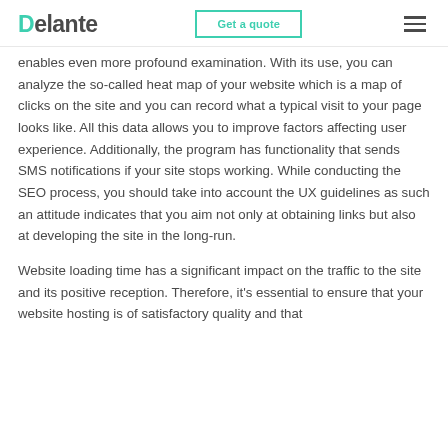Delante | Get a quote
enables even more profound examination. With its use, you can analyze the so-called heat map of your website which is a map of clicks on the site and you can record what a typical visit to your page looks like. All this data allows you to improve factors affecting user experience. Additionally, the program has functionality that sends SMS notifications if your site stops working. While conducting the SEO process, you should take into account the UX guidelines as such an attitude indicates that you aim not only at obtaining links but also at developing the site in the long-run.
Website loading time has a significant impact on the traffic to the site and its positive reception. Therefore, it's essential to ensure that your website hosting is of satisfactory quality and that